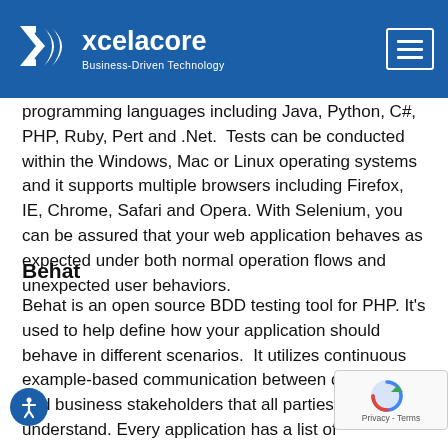[Figure (logo): Xcelacore logo with blue background, white X-like icon, company name and tagline 'Business-Driven Technology', and hamburger menu icon top right]
programming languages including Java, Python, C#, PHP, Ruby, Pert and .Net.  Tests can be conducted within the Windows, Mac or Linux operating systems and it supports multiple browsers including Firefox, IE, Chrome, Safari and Opera. With Selenium, you can be assured that your web application behaves as expected under both normal operation flows and unexpected user behaviors.
Behat
Behat is an open source BDD testing tool for PHP. It's used to help define how your application should behave in different scenarios.  It utilizes continuous example-based communication between developers and business stakeholders that all parties can easily understand. Every application has a list of documented actions and Behat verifies them by testing them against the application itself.